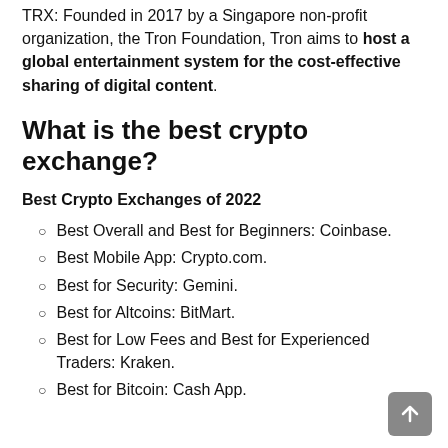TRX: Founded in 2017 by a Singapore non-profit organization, the Tron Foundation, Tron aims to host a global entertainment system for the cost-effective sharing of digital content.
What is the best crypto exchange?
Best Crypto Exchanges of 2022
Best Overall and Best for Beginners: Coinbase.
Best Mobile App: Crypto.com.
Best for Security: Gemini.
Best for Altcoins: BitMart.
Best for Low Fees and Best for Experienced Traders: Kraken.
Best for Bitcoin: Cash App.